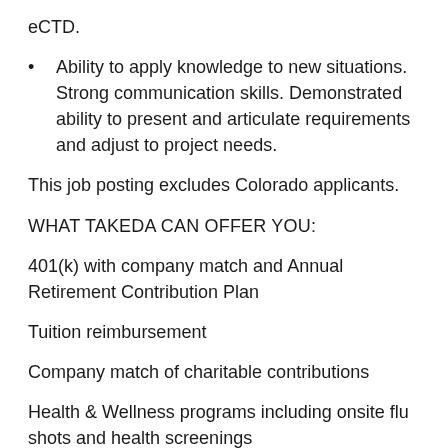eCTD.
Ability to apply knowledge to new situations. Strong communication skills. Demonstrated ability to present and articulate requirements and adjust to project needs.
This job posting excludes Colorado applicants.
WHAT TAKEDA CAN OFFER YOU:
401(k) with company match and Annual Retirement Contribution Plan
Tuition reimbursement
Company match of charitable contributions
Health & Wellness programs including onsite flu shots and health screenings